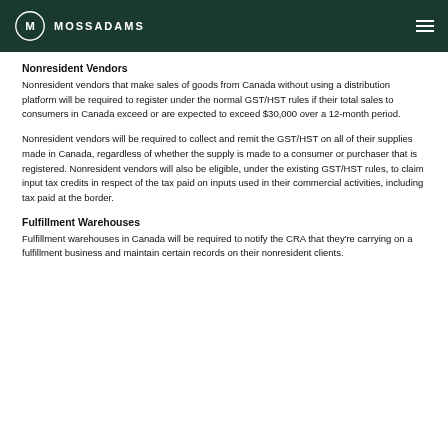MOSSADAMS
Nonresident Vendors
Nonresident vendors that make sales of goods from Canada without using a distribution platform will be required to register under the normal GST/HST rules if their total sales to consumers in Canada exceed or are expected to exceed $30,000 over a 12-month period.
Nonresident vendors will be required to collect and remit the GST/HST on all of their supplies made in Canada, regardless of whether the supply is made to a consumer or purchaser that is registered. Nonresident vendors will also be eligible, under the existing GST/HST rules, to claim input tax credits in respect of the tax paid on inputs used in their commercial activities, including tax paid at the border.
Fulfillment Warehouses
Fulfillment warehouses in Canada will be required to notify the CRA that they're carrying on a fulfillment business and maintain certain records on their nonresident clients.